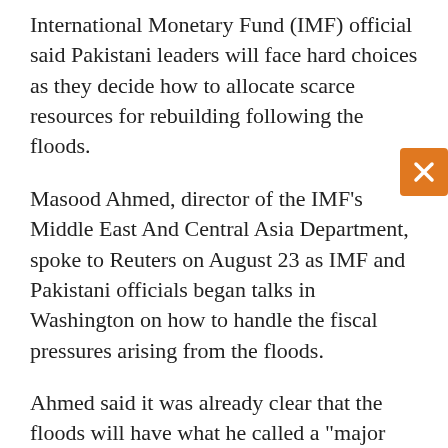International Monetary Fund (IMF) official said Pakistani leaders will face hard choices as they decide how to allocate scarce resources for rebuilding following the floods.
Masood Ahmed, director of the IMF's Middle East And Central Asia Department, spoke to Reuters on August 23 as IMF and Pakistani officials began talks in Washington on how to handle the fiscal pressures arising from the floods.
Ahmed said it was already clear that the floods will have what he called a "major and lasting impact" on Pakistan's economy. He said the talks with the IMF will focus on the impacts rebuilding will have on Pakistani growth, inflation, and the budget.